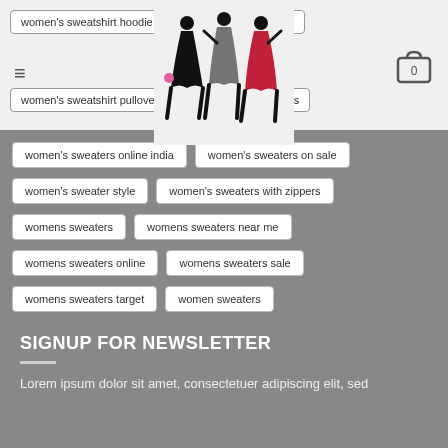women's sweatshirt hoodie | women's sweater dress | women's sweatshirt pullover | women's sweater ideas
women's sweaters online india
women's sweaters on sale
women's sweater style
women's sweaters with zippers
womens sweaters
womens sweaters near me
womens sweaters online
womens sweaters sale
womens sweaters target
women sweaters
women sweaters online
women sweaters on sale
SIGNUP FOR NEWSLETTER
Lorem ipsum dolor sit amet, consectetuer adipiscing elit, sed